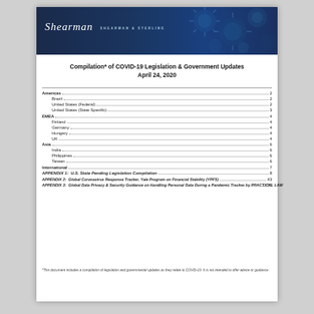[Figure (illustration): Shearman & Sterling law firm banner with dark blue background and coronavirus/molecule imagery on the right side. Firm name 'Shearman' in white italic serif font with 'SHEARMAN & STERLING' subtitle.]
Compilation* of COVID-19 Legislation & Government Updates
April 24, 2020
| Section | Page |
| --- | --- |
| Americas | 2 |
| Brazil | 2 |
| United States (Federal) | 2 |
| United States (State Specific) | 3 |
| EMEA | 4 |
| Finland | 4 |
| Germany | 4 |
| Hungary | 4 |
| UK | 4 |
| Asia | 6 |
| India | 6 |
| Philippines | 6 |
| Taiwan | 6 |
| International | 7 |
| APPENDIX 1: U.S. State Pending Legislation Compilation | 8 |
| APPENDIX 2: Global Coronavirus Response Tracker, Yale Program on Financial Stability (YPFS) | 43 |
| APPENDIX 3: Global Data Privacy & Security Guidance on Handling Personal Data During a Pandemic Tracker by PRACTICAL LAW | 50 |
*This document includes a compilation of legislation and governmental updates as they relate to COVID-19. It is not intended to offer advice or guidance.